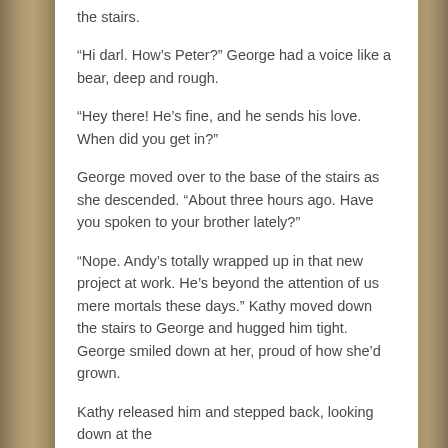the stairs.
“Hi darl. How’s Peter?” George had a voice like a bear, deep and rough.
“Hey there! He’s fine, and he sends his love. When did you get in?”
George moved over to the base of the stairs as she descended. “About three hours ago. Have you spoken to your brother lately?”
“Nope. Andy’s totally wrapped up in that new project at work. He’s beyond the attention of us mere mortals these days.” Kathy moved down the stairs to George and hugged him tight. George smiled down at her, proud of how she’d grown.
Kathy released him and stepped back, looking down at the